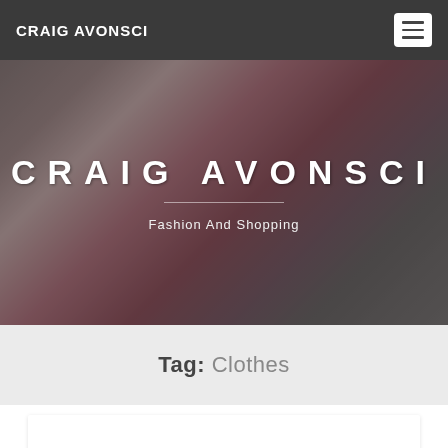CRAIG AVONSCI
[Figure (photo): Fashion photo of a woman in sunglasses and a red jacket holding shopping bags, used as a hero banner. Overlaid with the text CRAIG AVONSCI, a divider line, and subtitle Fashion And Shopping.]
CRAIG AVONSCI
Fashion And Shopping
Tag: Clothes
WHY BUY ORIGINAL BRAND